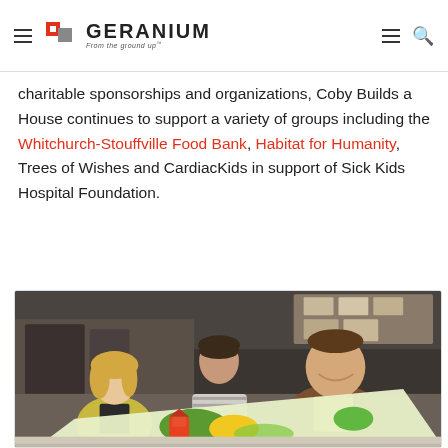Geranium – From the ground up
charitable sponsorships and organizations, Coby Builds a House continues to support a variety of groups including the Whitchurch-Stouffville Food Bank, Habitat for Humanity, Trees of Wishes and CardiacKids in support of Sick Kids Hospital Foundation.
[Figure (photo): Three people standing together in what appears to be a print shop or warehouse, holding a large colorful illustrated print/poster. A woman in a yellow jacket is on the left, a man in a striped polo shirt is in the center, and a man in a brown blazer over a yellow shirt is on the right.]